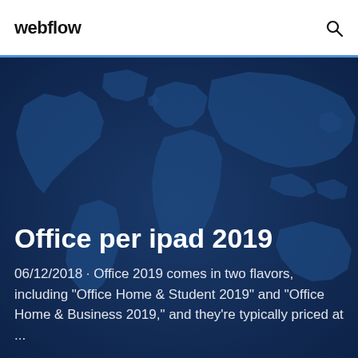webflow
[Figure (illustration): Dark blue world map background illustration used as hero image background]
Office per ipad 2019
06/12/2018 · Office 2019 comes in two flavors, including "Office Home & Student 2019" and "Office Home & Business 2019," and they're typically priced at ...